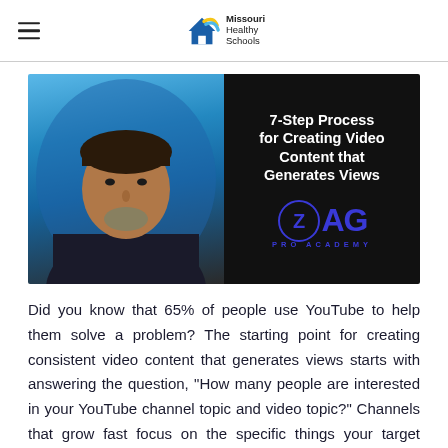Missouri Healthy Schools
[Figure (photo): Thumbnail image showing a man's headshot on the left against a blue background, and on the right a black background with white bold text reading '7-Step Process for Creating Video Content that Generates Views' and the ZAG Pro Academy logo in blue below.]
Did you know that 65% of people use YouTube to help them solve a problem? The starting point for creating consistent video content that generates views starts with answering the question, "How many people are interested in your YouTube channel topic and video topic?" Channels that grow fast focus on the specific things your target audience is already searching for on YouTube. In other words, what problem are